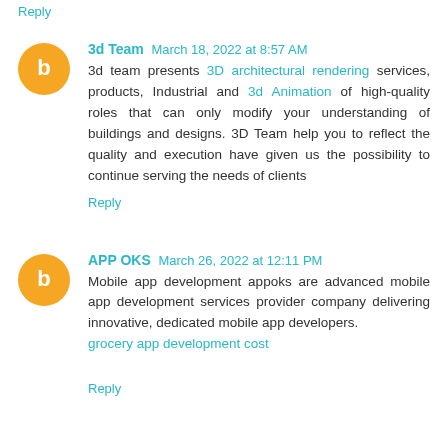Reply
3d Team  March 18, 2022 at 8:57 AM
3d team presents 3D architectural rendering services, products, Industrial and 3d Animation of high-quality roles that can only modify your understanding of buildings and designs. 3D Team help you to reflect the quality and execution have given us the possibility to continue serving the needs of clients
Reply
APP OKS  March 26, 2022 at 12:11 PM
Mobile app development appoks are advanced mobile app development services provider company delivering innovative, dedicated mobile app developers. grocery app development cost
Reply